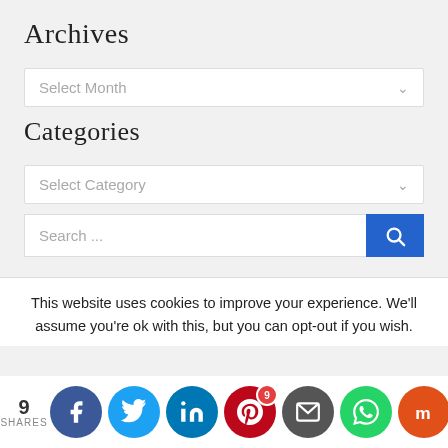Archives
Select Month
Categories
Select Category
Search ...
This website uses cookies to improve your experience. We'll assume you're ok with this, but you can opt-out if you wish.
9 SHARES